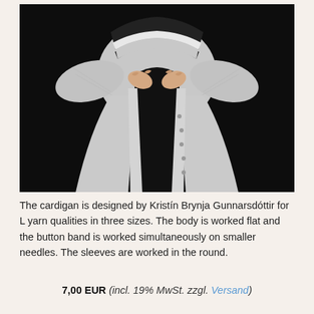[Figure (photo): A person wearing a long light grey knitted cardigan with black striped collar, holding the front button bands open. The cardigan has small buttons along the front band. Dark black background.]
The cardigan is designed by Kristín Brynja Gunnarsdóttir for L yarn qualities in three sizes. The body is worked flat and the button band is worked simultaneously on smaller needles. The sleeves are worked in the round.
7,00 EUR (incl. 19% MwSt. zzgl. Versand)